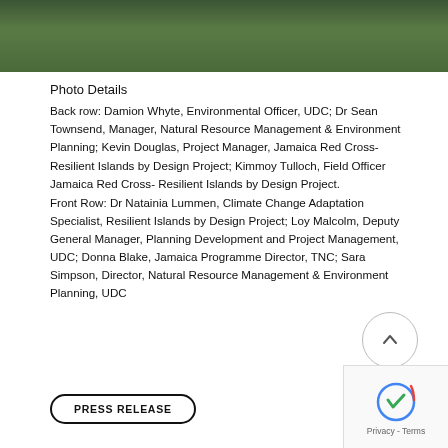[Figure (photo): Group photo of people standing outdoors in front of green foliage, partially visible at top of page]
Photo Details
Back row: Damion Whyte, Environmental Officer, UDC; Dr Sean Townsend, Manager, Natural Resource Management & Environment Planning; Kevin Douglas, Project Manager, Jamaica Red Cross- Resilient Islands by Design Project; Kimmoy Tulloch, Field Officer Jamaica Red Cross- Resilient Islands by Design Project.
Front Row: Dr Natainia Lummen, Climate Change Adaptation Specialist, Resilient Islands by Design Project; Loy Malcolm, Deputy General Manager, Planning Development and Project Management, UDC; Donna Blake, Jamaica Programme Director, TNC; Sara Simpson, Director, Natural Resource Management & Environment Planning, UDC
PRESS RELEASE